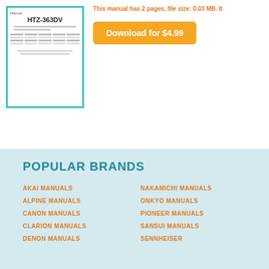[Figure (screenshot): Thumbnail image of HTZ-363DV manual document page with teal border]
This manual has 2 pages, file size: 0.03 MB. It
Download for $4.99
POPULAR BRANDS
AKAI MANUALS
ALPINE MANUALS
CANON MANUALS
CLARION MANUALS
DENON MANUALS
NAKAMICHI MANUALS
ONKYO MANUALS
PIONEER MANUALS
SANSUI MANUALS
SENNHEISER